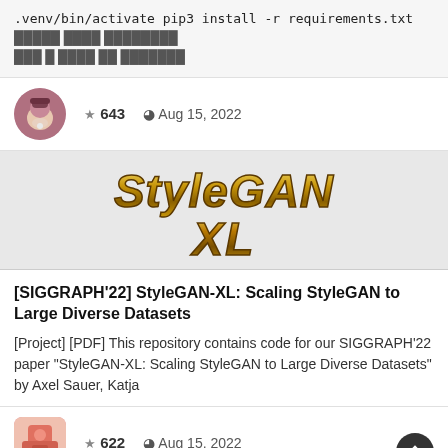.venv/bin/activate pip3 install -r requirements.txt [non-latin text] [non-latin text]
★ 643  © Aug 15, 2022
[Figure (illustration): StyleGAN XL golden metallic 3D logo text on grey background]
[SIGGRAPH'22] StyleGAN-XL: Scaling StyleGAN to Large Diverse Datasets
[Project] [PDF] This repository contains code for our SIGGRAPH'22 paper "StyleGAN-XL: Scaling StyleGAN to Large Diverse Datasets" by Axel Sauer, Katja
★ 622  © Aug 15, 2022